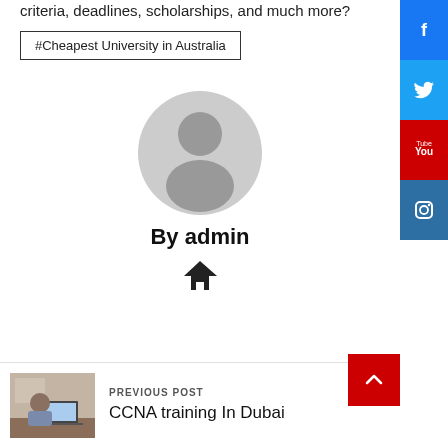criteria, deadlines, scholarships, and much more?
#Cheapest University in Australia
[Figure (illustration): Gray circular user/admin avatar icon]
By admin
[Figure (illustration): Home icon (house silhouette)]
PREVIOUS POST
CCNA training In Dubai
[Figure (photo): Student studying with laptop at desk]